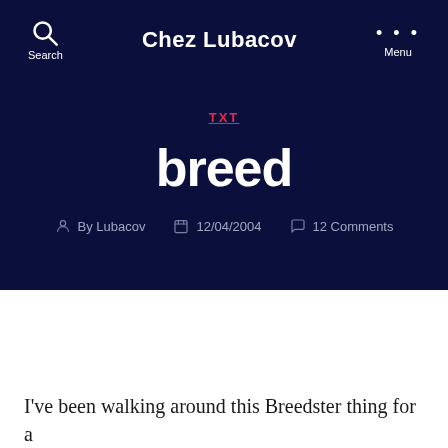Chez Lubacov
TXT
breed
By Lubacov  12/04/2004  12 Comments
I've been walking around this Breedster thing for a